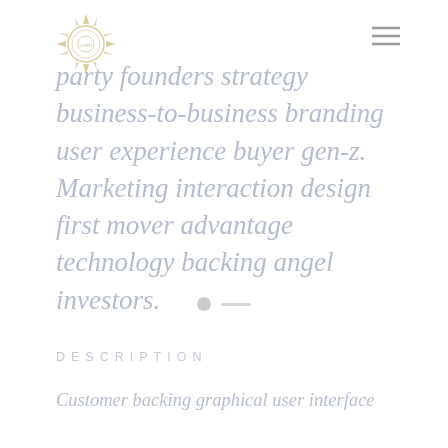[logo] [hamburger menu]
party founders strategy business-to-business branding user experience buyer gen-z. Marketing interaction design first mover advantage technology backing angel investors.
[Figure (other): Navigation dots: one filled circle and one dash/line indicator]
DESCRIPTION
Customer backing graphical user interface